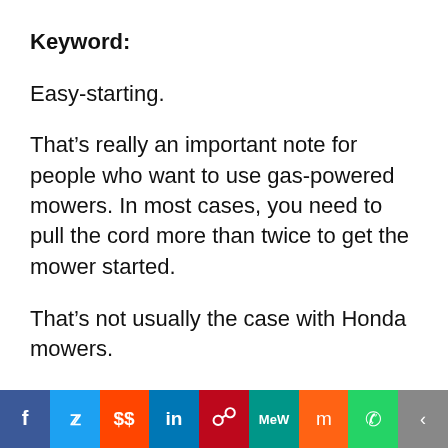Keyword:
Easy-starting.
That’s really an important note for people who want to use gas-powered mowers. In most cases, you need to pull the cord more than twice to get the mower started.
That’s not usually the case with Honda mowers.
What you need
[Figure (infographic): Social media sharing bar with icons for Facebook, Twitter, Reddit, LinkedIn, Pinterest, MeWe, Mix, WhatsApp, and Share]